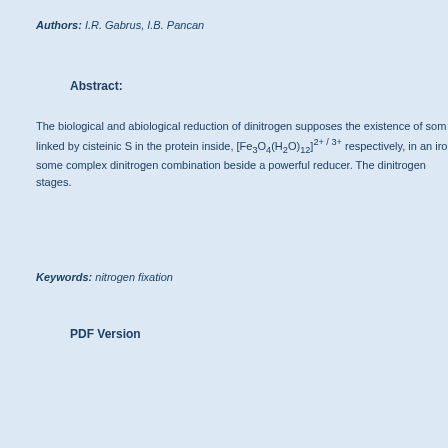Authors: I.R. Gabrus, I.B. Pancan
Abstract:
The biological and abiological reduction of dinitrogen supposes the existence of some linked by cisteinic S in the protein inside, [Fe3O4(H2O)12]2+ / 3+ respectively, in an iron some complex dinitrogen combination beside a powerful reducer. The dinitrogen stages.
Keywords: nitrogen fixation
PDF Version